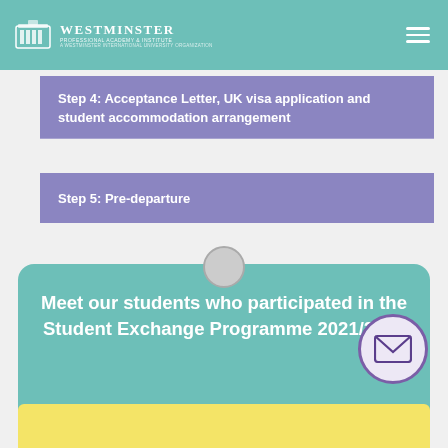Westminster Professional Academy & Institute — A Westminster International University Organization
Step 4: Acceptance Letter, UK visa application and student accommodation arrangement
Step 5: Pre-departure
Meet our students who participated in the Student Exchange Programme 2021/2022